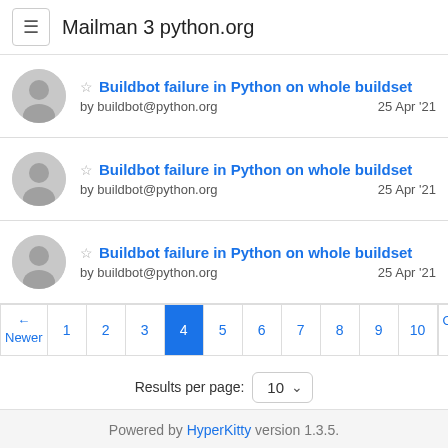Mailman 3 python.org
Buildbot failure in Python on whole buildset
by buildbot@python.org
25 Apr '21
Buildbot failure in Python on whole buildset
by buildbot@python.org
25 Apr '21
Buildbot failure in Python on whole buildset
by buildbot@python.org
25 Apr '21
← Newer  1 2 3 4 5 6 7 8 9 10  Older →
Results per page: 10
Powered by HyperKitty version 1.3.5.